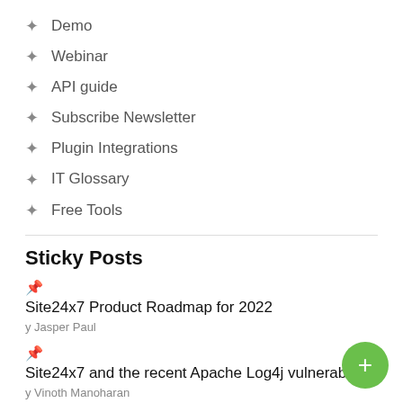Demo
Webinar
API guide
Subscribe Newsletter
Plugin Integrations
IT Glossary
Free Tools
Sticky Posts
📌 Site24x7 Product Roadmap for 2022
y Jasper Paul
📌 Site24x7 and the recent Apache Log4j vulnerability
y Vinoth Manoharan
📌 [Updated] Site24x7 Status Pages migrated to StatusIO